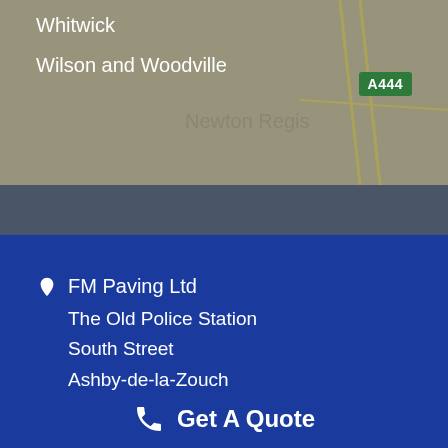[Figure (map): Google Maps screenshot showing area around Newton Regis with road A444, overlaid with semi-transparent dark layer. Text labels visible: Whitwick, Wilson and Woodville, Newton Regis, A444 road badge.]
Whitwick
Wilson and Woodville
Newton Regis
FM Paving Ltd
The Old Police Station
South Street
Ashby-de-la-Zouch
Leicestershire
Get A Quote